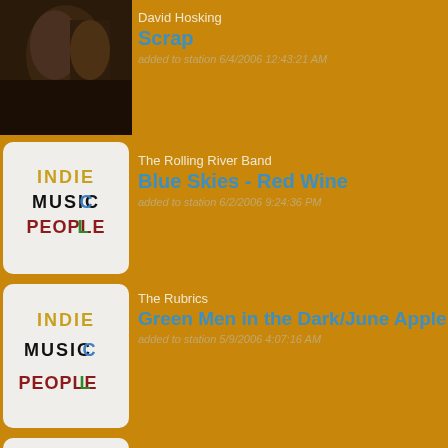[Figure (photo): Album art photo showing a musician, dark tones]
David Hosking
Scrap
added to station 6/4/2006 12:43:21 AM
[Figure (logo): Indie Music People logo with colorful text on light background]
The Rolling River Band
Blue Skies - Red Wine
added to station 6/2/2006 9:24:36 PM
[Figure (logo): Indie Music People logo with colorful text on light background]
The Rubrics
Green Men in the Dark/June Apple
added to station 5/9/2006 4:07:16 AM
[Figure (logo): Indie Music People logo with colorful text on light background]
Joel Kelly
No More Science
added to station 5/1/2006 3:39:55 PM